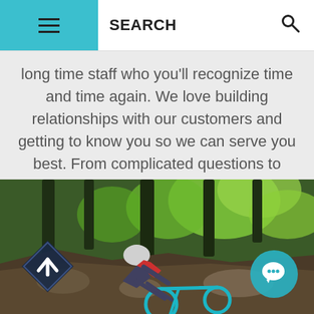SEARCH
long time staff who you'll recognize time and time again. We love building relationships with our customers and getting to know you so we can serve you best. From complicated questions to simple recommendations, we're here to keep you rolling
[Figure (photo): Mountain biker navigating a steep rocky forest trail, leaning forward on a teal bike, surrounded by tall trees and green foliage. Two overlay UI buttons visible: a dark diamond-shaped arrow-up button (bottom left) and a teal circular chat bubble button (bottom right).]